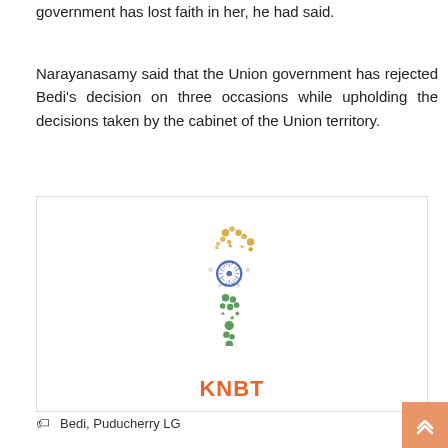government has lost faith in her, he had said.
Narayanasamy said that the Union government has rejected Bedi's decision on three occasions while upholding the decisions taken by the cabinet of the Union territory.
[Figure (illustration): Stylized map of India made of colorful icons and symbols, with a blue Ashoka Chakra wheel in the center, orange icons in the north and green icons in the south. Below the map is the text 'KNBT' in orange.]
Bedi, Puducherry LG